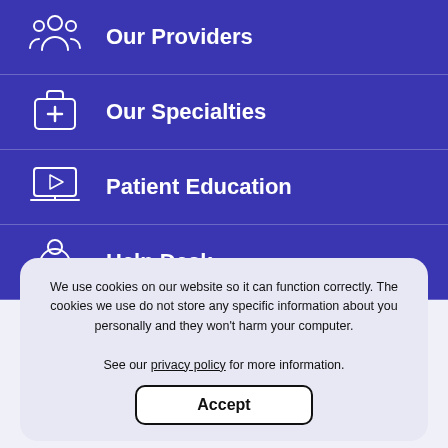Our Providers
Our Specialties
Patient Education
Help Desk
Locations
We use cookies on our website so it can function correctly. The cookies we use do not store any specific information about you personally and they won't harm your computer.

See our privacy policy for more information.
Patient Education & Resources
Accept